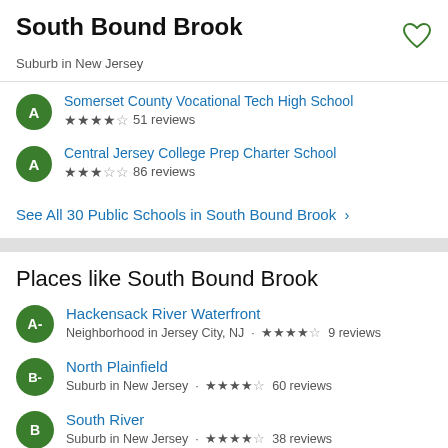South Bound Brook
Suburb in New Jersey
Somerset County Vocational Tech High School · ★★★★☆ 51 reviews
Central Jersey College Prep Charter School · ★★★☆☆ 86 reviews
See All 30 Public Schools in South Bound Brook >
Places like South Bound Brook
Hackensack River Waterfront · Neighborhood in Jersey City, NJ · ★★★★☆ 9 reviews
North Plainfield · Suburb in New Jersey · ★★★★☆ 60 reviews
South River · Suburb in New Jersey · ★★★★☆ 38 reviews
Carteret